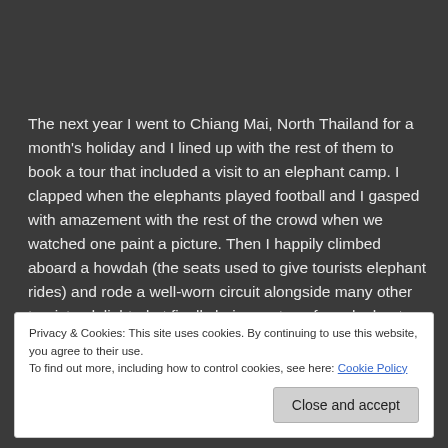The next year I went to Chiang Mai, North Thailand for a month's holiday and I lined up with the rest of them to book a tour that included a visit to an elephant camp. I clapped when the elephants played football and I gasped with amazement with the rest of the crowd when we watched one paint a picture. Then I happily climbed aboard a howdah (the seats used to give tourists elephant rides) and rode a well-worn circuit alongside many other tourists, delighted at finally being on top of an elephant.
Privacy & Cookies: This site uses cookies. By continuing to use this website, you agree to their use.
To find out more, including how to control cookies, see here: Cookie Policy
Close and accept